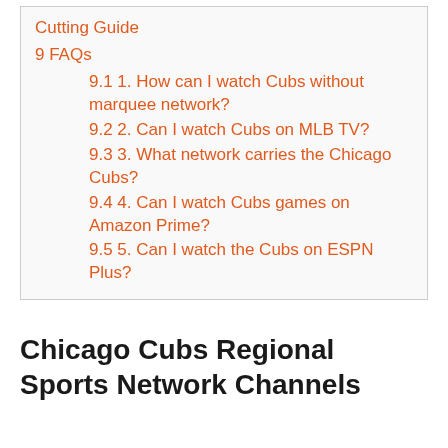Cutting Guide
9 FAQs
9.1 1. How can I watch Cubs without marquee network?
9.2 2. Can I watch Cubs on MLB TV?
9.3 3. What network carries the Chicago Cubs?
9.4 4. Can I watch Cubs games on Amazon Prime?
9.5 5. Can I watch the Cubs on ESPN Plus?
Chicago Cubs Regional Sports Network Channels